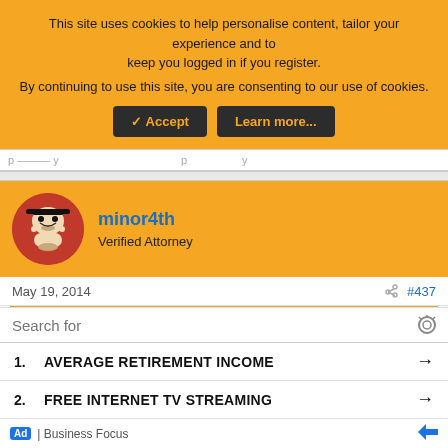This site uses cookies to help personalise content, tailor your experience and to keep you logged in if you register. By continuing to use this site, you are consenting to our use of cookies.
Accept | Learn more...
minor4th
Verified Attorney
May 19, 2014
#437
Abigail said:
I'd like to address this concept that a person can't be both "functional" and psychotic at the same time.
I have a good friend/neighbor who has bipolar disorder. She will
Search for
1. AVERAGE RETIREMENT INCOME →
2. FREE INTERNET TV STREAMING →
Ad | Business Focus